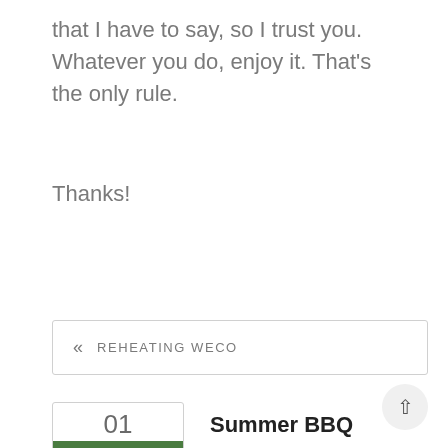that I have to say, so I trust you. Whatever you do, enjoy it. That's the only rule.
Thanks!
« REHEATING WECO
01
SEP 22
Summer BBQ
Lobster Roll